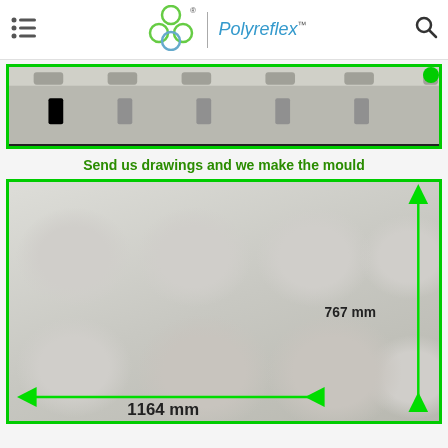Polyreflex — navigation header with hamburger menu, logo, and search icon
[Figure (photo): Top photograph showing a grey foam/plastic mould tray from a side/top angle, with green border highlight and a green dot in the top-right corner.]
Send us drawings and we make the mould
[Figure (engineering-diagram): Photograph of a white foam mould tray viewed from above, showing 8 circular recessed cups arranged in a 2-row grid. Green border lines annotate the dimensions: 1164 mm (width, horizontal) and 767 mm (height, vertical), with green arrows indicating measurements.]